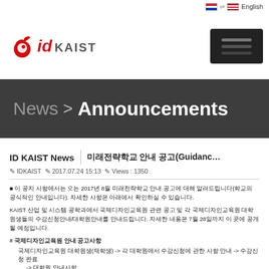English (language selector)
[Figure (logo): ID KAIST logo with red bird icon and text]
News > Announcements
ID KAIST News | 국제디자인교육원 안내 공고(Guidance f...
✎ IDKAIST  ✎ 2017.07.24 15:13  ✎ Views : 1350
이 공지 사항에서는 오는 2017년 8월 국제디자인교육원 안내 공고에 대해 알려드립니다(학교의 공식적인 안내입니다). 자세한 사항은 아래에서 확인하실 수 있습니다.
KAIST 산업 및 시스템 공학과에서 국제디자인교육원 관련 공고 및 각 국제디자인교육원 대학원생들의 수강신청안내/대학원안내를 안내드립니다. 자세한 내용은 7월 28일까지 이 곳에 공개될 예정입니다.
# 국제디자인교육원 안내 공고사항
국제디자인교육원 대학원생(재학생) -> 각 대학원에서 수강신청에 관한 사항 안내 -> 수강신청 완료
-> 대학원 안내사항